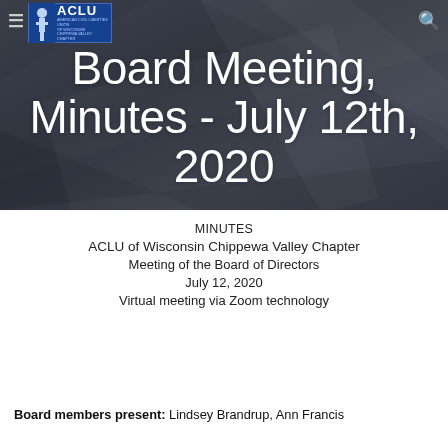[Figure (other): ACLU of Wisconsin Chippewa Valley Chapter logo with blue background and text]
Board Meeting, Minutes - July 12th, 2020
MINUTES
ACLU of Wisconsin Chippewa Valley Chapter
Meeting of the Board of Directors
July 12, 2020
Virtual meeting via Zoom technology
Board members present: Lindsey Brandrup, Ann Francis